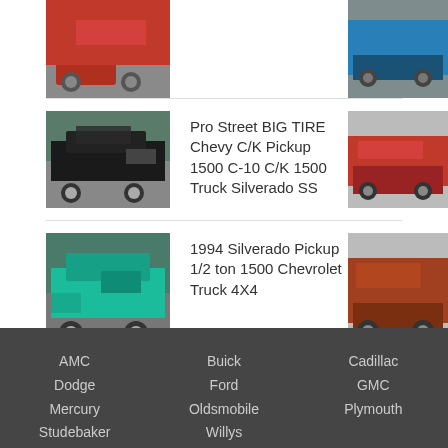[Figure (photo): Red Chevrolet pickup truck thumbnail, partially cropped at top]
[Figure (photo): Blue truck thumbnail on right side, partially cropped]
[Figure (photo): Black Chevrolet C/K pickup truck thumbnail]
Pro Street BIG TIRE Chevy C/K Pickup 1500 C-10 C/K 1500 Truck Silverado SS
[Figure (photo): Red Chevrolet truck thumbnail on right side]
[Figure (photo): Teal/turquoise 1994 Chevrolet Silverado extended cab pickup truck thumbnail]
1994 Silverado Pickup 1/2 ton 1500 Chevrolet Truck 4X4
[Figure (photo): Rust/maroon colored Chevrolet truck thumbnail on right side]
AMC
Dodge
Mercury
Studebaker
Buick
Ford
Oldsmobile
Willys
Cadillac
GMC
Plymouth